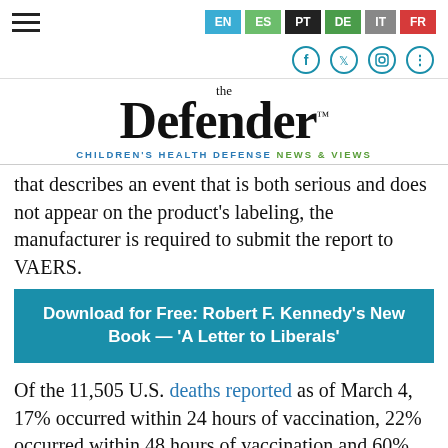EN ES PT DE IT FR — navigation and social icons
[Figure (logo): The Defender — Children's Health Defense News & Views logo]
that describes an event that is both serious and does not appear on the product's labeling, the manufacturer is required to submit the report to VAERS.
Download for Free: Robert F. Kennedy's New Book — 'A Letter to Liberals'
Of the 11,505 U.S. deaths reported as of March 4, 17% occurred within 24 hours of vaccination, 22% occurred within 48 hours of vaccination and 60% occurred in people who experienced an onset of